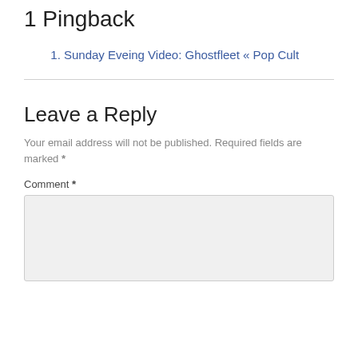1 Pingback
Sunday Eveing Video: Ghostfleet « Pop Cult
Leave a Reply
Your email address will not be published. Required fields are marked *
Comment *